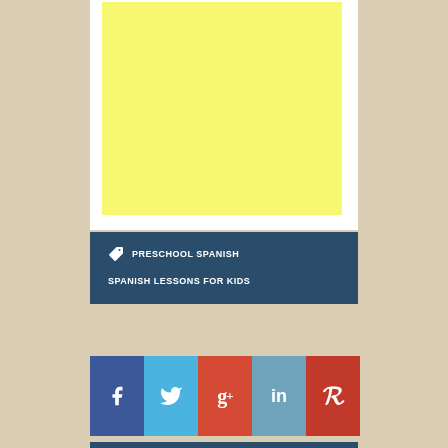[Figure (illustration): Yellow block on white card background — advertisement or content placeholder area]
PRESCHOOL SPANISH
SPANISH LESSONS FOR KIDS
[Figure (infographic): Social media share buttons row: Facebook (f), Twitter (bird), Google+ (g+), LinkedIn (in), Pinterest (p)]